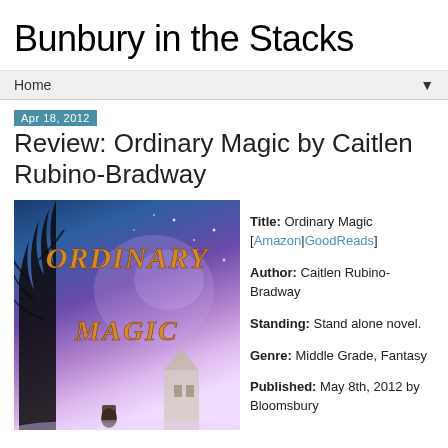Bunbury in the Stacks
Home ▼
Apr 18, 2012
Review: Ordinary Magic by Caitlen Rubino-Bradway
[Figure (photo): Book cover of 'Ordinary Magic' showing fantasy-themed artwork with dark tree silhouettes, a child figure, a building, and starry purple-blue sky with golden stylized title text]
Title: Ordinary Magic [Amazon|GoodReads] Author: Caitlen Rubino-Bradway Standing: Stand alone novel. Genre: Middle Grade, Fantasy Published: May 8th, 2012 by Bloomsbury